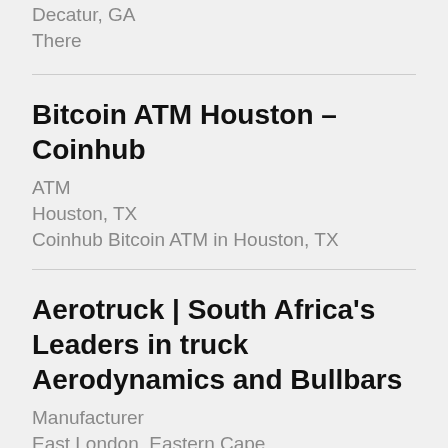Decatur, GA
There
Bitcoin ATM Houston – Coinhub
ATM
Houston, TX
Coinhub Bitcoin ATM in Houston, TX
Aerotruck | South Africa's Leaders in truck Aerodynamics and Bullbars
Manufacturer
East London, Eastern Cape